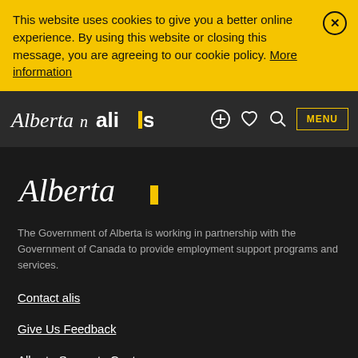This website uses cookies to give you a better online experience. By using this website or closing this message, you are agreeing to our cookie policy. More information
[Figure (logo): Alberta and alis navigation bar with icons and MENU button]
[Figure (logo): Alberta government logo (large, white italic script with yellow flag mark)]
The Government of Alberta is working in partnership with the Government of Canada to provide employment support programs and services.
Contact alis
Give Us Feedback
Alberta Supports Centres